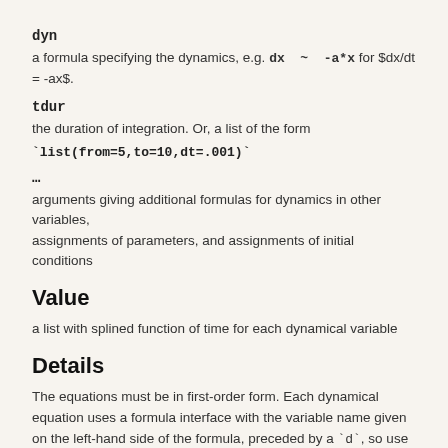dyn
a formula specifying the dynamics, e.g. `dx ~ -a*x` for $dx/dt = -ax$.
tdur
the duration of integration. Or, a list of the form
`list(from=5,to=10,dt=.001)`
...
arguments giving additional formulas for dynamics in other variables, assignments of parameters, and assignments of initial conditions
Value
a list with splined function of time for each dynamical variable
Details
The equations must be in first-order form. Each dynamical equation uses a formula interface with the variable name given on the left-hand side of the formula, preceded by a `d`, so use `dx~-k*x` for